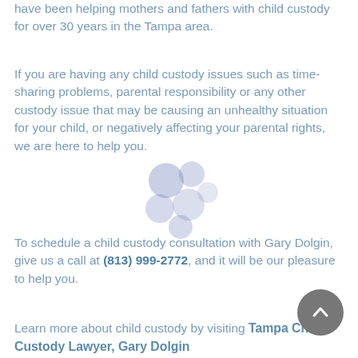have been helping mothers and fathers with child custody for over 30 years in the Tampa area.
If you are having any child custody issues such as time-sharing problems, parental responsibility or any other custody issue that may be causing an unhealthy situation for your child, or negatively affecting your parental rights, we are here to help you.
To schedule a child custody consultation with Gary Dolgin, give us a call at (813) 999-2772, and it will be our pleasure to help you.
Learn more about child custody by visiting Tampa Child Custody Lawyer, Gary Dolgin